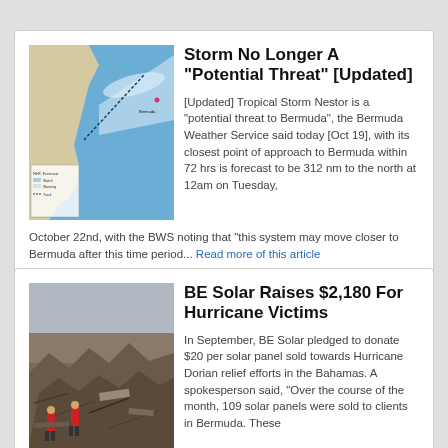[Figure (map): Map showing storm track path over Atlantic/US East Coast toward Bermuda, with blue water and cone-shaped forecast path in lighter blue/white]
Storm No Longer A “Potential Threat” [Updated]
[Updated] Tropical Storm Nestor is a “potential threat to Bermuda”, the Bermuda Weather Service said today [Oct 19], with its closest point of approach to Bermuda within 72 hrs is forecast to be 312 nm to the north at 12am on Tuesday, October 22nd, with the BWS noting that “this system may move closer to Bermuda after this time period... Read more of this article
[Figure (photo): Disaster scene photograph showing rubble and debris from hurricane damage in the Bahamas, with people in red jackets visible among destruction]
BE Solar Raises $2,180 For Hurricane Victims
In September, BE Solar pledged to donate $20 per solar panel sold towards Hurricane Dorian relief efforts in the Bahamas. A spokesperson said, “Over the course of the month, 109 solar panels were sold to clients in Bermuda. These solar panels will offset the consumption of fossil fuel and will help to reduce